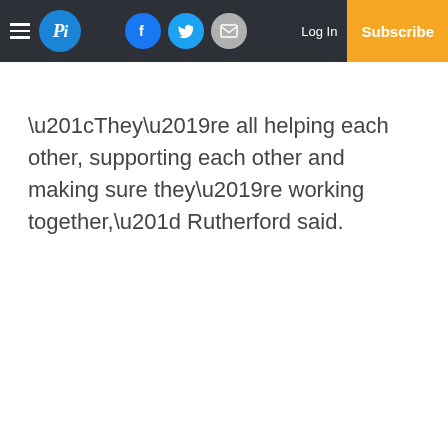Pi | Log In | Subscribe
“They’re all helping each other, supporting each other and making sure they’re working together,” Rutherford said.